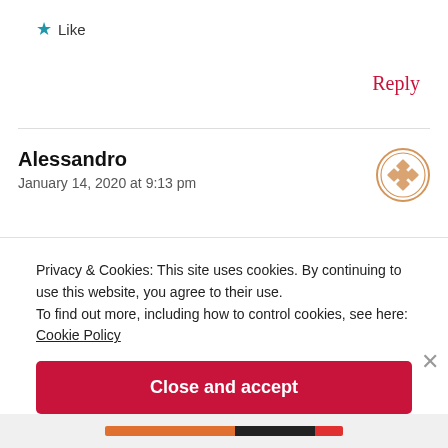★ Like
Reply
Alessandro
January 14, 2020 at 9:13 pm
Privacy & Cookies: This site uses cookies. By continuing to use this website, you agree to their use.
To find out more, including how to control cookies, see here:
Cookie Policy
Close and accept